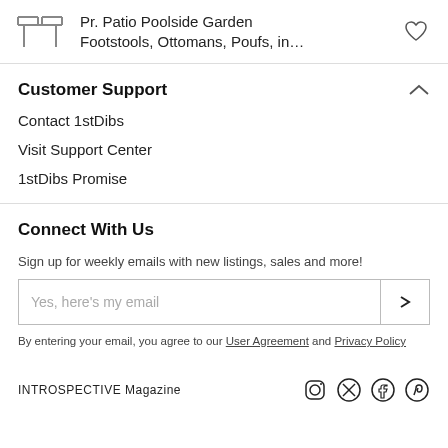Pr. Patio Poolside Garden Footstools, Ottomans, Poufs, in…
Customer Support
Contact 1stDibs
Visit Support Center
1stDibs Promise
Connect With Us
Sign up for weekly emails with new listings, sales and more!
Yes, here's my email
By entering your email, you agree to our User Agreement and Privacy Policy
INTROSPECTIVE Magazine